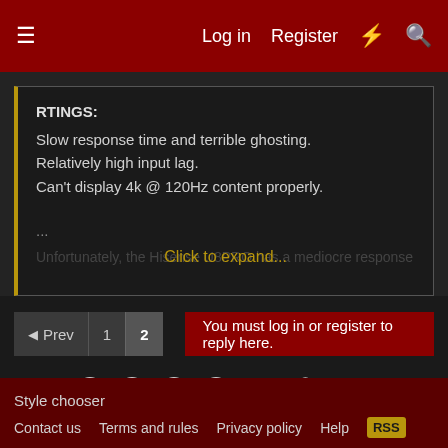Log in  Register
RTINGS:
Slow response time and terrible ghosting.
Relatively high input lag.
Can't display 4k @ 120Hz content properly.
...
Unfortunately, the Hisense U8PRO has a mediocre response time...
Click to expand...
◄ Prev  1  2   You must log in or register to reply here.
Share:
< Displays
Style chooser
Contact us  Terms and rules  Privacy policy  Help